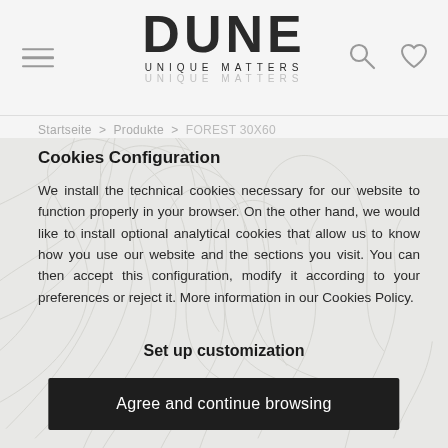[Figure (logo): DUNE UNIQUE MATTERS logo with hamburger menu, search icon, and heart icon in header]
Startseite  >  Produkte  >  FOREST 30X60
Cookies Configuration
We install the technical cookies necessary for our website to function properly in your browser. On the other hand, we would like to install optional analytical cookies that allow us to know how you use our website and the sections you visit. You can then accept this configuration, modify it according to your preferences or reject it. More information in our Cookies Policy.
Set up customization
Agree and continue browsing